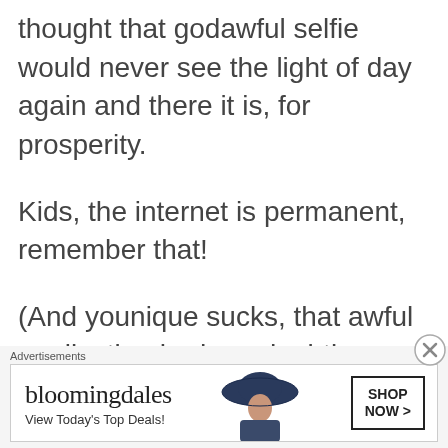thought that godawful selfie would never see the light of day again and there it is, for prosperity.
Kids, the internet is permanent, remember that!
(And younique sucks, that awful application had me doubting my makeup skills for months, I couldn’t understand why I couldn’t get mine to look like the
Advertisements
[Figure (other): Bloomingdale's advertisement banner with logo, woman in hat, and Shop Now button]